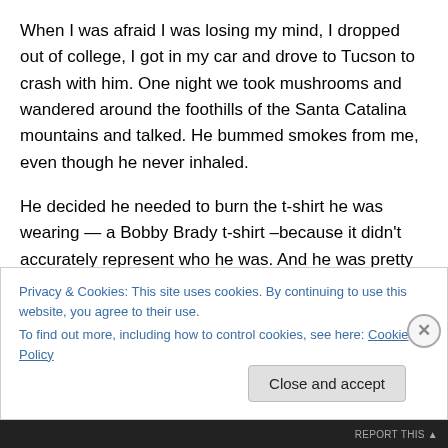When I was afraid I was losing my mind, I dropped out of college, I got in my car and drove to Tucson to crash with him. One night we took mushrooms and wandered around the foothills of the Santa Catalina mountains and talked. He bummed smokes from me, even though he never inhaled.
He decided he needed to burn the t-shirt he was wearing — a Bobby Brady t-shirt –because it didn't accurately represent who he was. And he was pretty right about that. It didn't. He wasn't some goofball kid, I guess.
Privacy & Cookies: This site uses cookies. By continuing to use this website, you agree to their use.
To find out more, including how to control cookies, see here: Cookie Policy
Close and accept